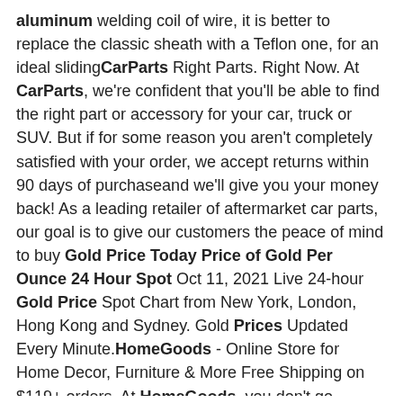aluminum welding coil of wire, it is better to replace the classic sheath with a Teflon one, for an ideal slidingCarParts Right Parts. Right Now. At CarParts, we're confident that you'll be able to find the right part or accessory for your car, truck or SUV. But if for some reason you aren't completely satisfied with your order, we accept returns within 90 days of purchaseand we'll give you your money back! As a leading retailer of aftermarket car parts, our goal is to give our customers the peace of mind to buy Gold Price Today Price of Gold Per Ounce 24 Hour Spot Oct 11, 2021 Live 24-hour Gold Price Spot Chart from New York, London, Hong Kong and Sydney. Gold Prices Updated Every Minute.HomeGoods - Online Store for Home Decor, Furniture & More Free Shipping on $119+ orders. At HomeGoods, you don't go shopping, you go finding. Find a unique selection of home fashions from around the world, all at amazing prices.Metal - Carports - Car Storage - The Home Depot The top-selling product within Metal Carports is the Arrow 12 ft. W x 20 ft. D Eggshell Galvanized Steel Carport, Car Canopy and Shelter. What is the price range for Metal Carports? The average price for Metal Carports ranges from $150 to over $5,000. What are the shipping